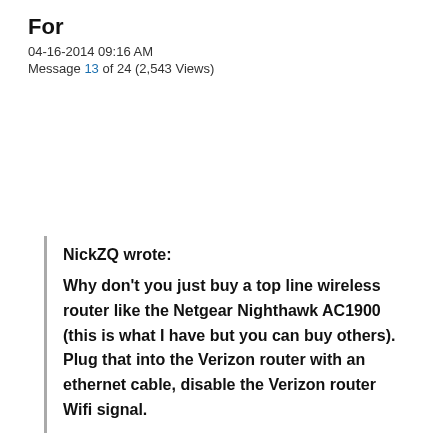For
04-16-2014 09:16 AM
Message 13 of 24 (2,543 Views)
NickZQ wrote:
Why don't you just buy a top line wireless router like the Netgear Nighthawk AC1900 (this is what I have but you can buy others).  Plug that into the Verizon router with an ethernet cable, disable the Verizon router Wifi signal.